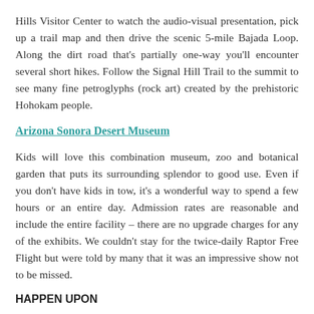Hills Visitor Center to watch the audio-visual presentation, pick up a trail map and then drive the scenic 5-mile Bajada Loop. Along the dirt road that's partially one-way you'll encounter several short hikes. Follow the Signal Hill Trail to the summit to see many fine petroglyphs (rock art) created by the prehistoric Hohokam people.
Arizona Sonora Desert Museum
Kids will love this combination museum, zoo and botanical garden that puts its surrounding splendor to good use. Even if you don't have kids in tow, it's a wonderful way to spend a few hours or an entire day. Admission rates are reasonable and include the entire facility – there are no upgrade charges for any of the exhibits. We couldn't stay for the twice-daily Raptor Free Flight but were told by many that it was an impressive show not to be missed.
HAPPEN UPON